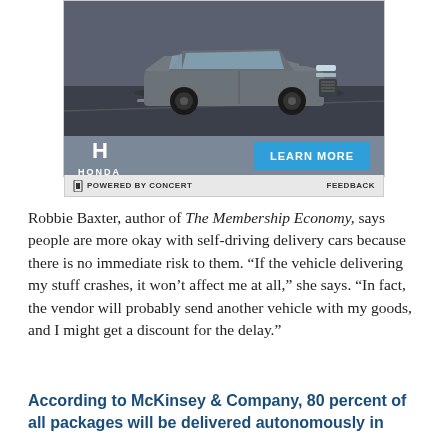[Figure (photo): Honda advertisement showing a gray Honda SUV driving on a road, with Honda logo and a blue 'LEARN MORE' button. Footer reads 'POWERED BY CONCERT' and 'FEEDBACK'.]
Robbie Baxter, author of The Membership Economy, says people are more okay with self-driving delivery cars because there is no immediate risk to them. “If the vehicle delivering my stuff crashes, it won’t affect me at all,” she says. “In fact, the vendor will probably send another vehicle with my goods, and I might get a discount for the delay.”
According to McKinsey & Company, 80 percent of all packages will be delivered autonomously in